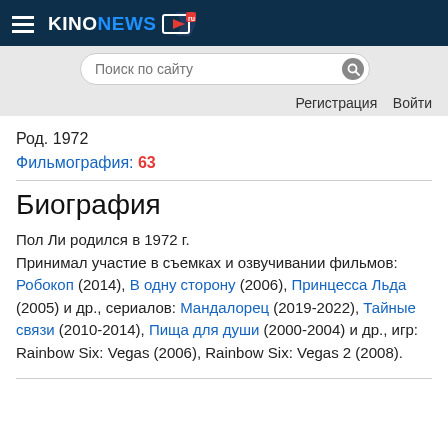KINONEWS.ru — header with hamburger menu, search bar, Регистрация, Войти
Род. 1972
Фильмография: 63
Биография
Пол Ли родился в 1972 г. Принимал участие в съемках и озвучивании фильмов: Робокоп (2014), В одну сторону (2006), Принцесса Льда (2005) и др., сериалов: Мандалорец (2019-2022), Тайные связи (2010-2014), Пища для души (2000-2004) и др., игр: Rainbow Six: Vegas (2006), Rainbow Six: Vegas 2 (2008).